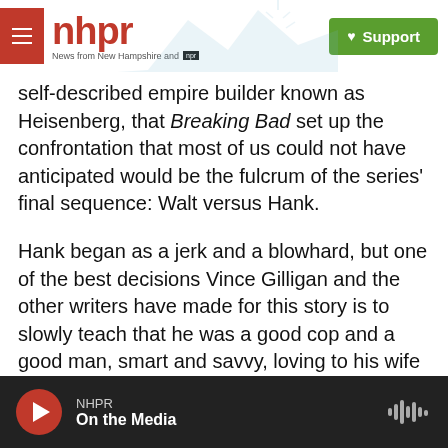nhpr — News from New Hampshire and NPR | Support
self-described empire builder known as Heisenberg, that Breaking Bad set up the confrontation that most of us could not have anticipated would be the fulcrum of the series' final sequence: Walt versus Hank.
Hank began as a jerk and a blowhard, but one of the best decisions Vince Gilligan and the other writers have made for this story is to slowly teach that he was a good cop and a good man, smart and savvy, loving to his wife as Walt tormented and terrorized his, and infinitely more trustworthy and humane than Walt will ever be again.
NHPR — On the Media